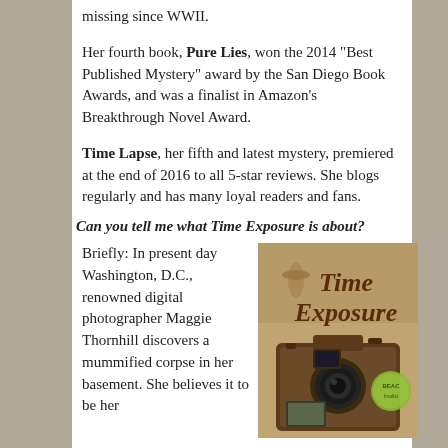missing since WWII.
Her fourth book, Pure Lies, won the 2014 "Best Published Mystery" award by the San Diego Book Awards, and was a finalist in Amazon's Breakthrough Novel Award.
Time Lapse, her fifth and latest mystery, premiered at the end of 2016 to all 5-star reviews. She blogs regularly and has many loyal readers and fans.
Can you tell me what Time Exposure is about?
Briefly: In present day Washington, D.C., renowned digital photographer Maggie Thornhill discovers a mummified corpse in her basement. She believes it to be her
[Figure (photo): Book cover for 'Time Exposure' featuring a camera and vintage-style imagery with a green award sticker]